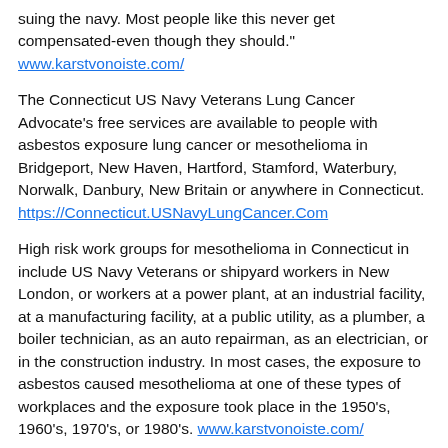suing the navy. Most people like this never get compensated-even though they should." www.karstvonoiste.com/
The Connecticut US Navy Veterans Lung Cancer Advocate's free services are available to people with asbestos exposure lung cancer or mesothelioma in Bridgeport, New Haven, Hartford, Stamford, Waterbury, Norwalk, Danbury, New Britain or anywhere in Connecticut. https://Connecticut.USNavyLungCancer.Com
High risk work groups for mesothelioma in Connecticut in include US Navy Veterans or shipyard workers in New London, or workers at a power plant, at an industrial facility, at a manufacturing facility, at a public utility, as a plumber, a boiler technician, as an auto repairman, as an electrician, or in the construction industry. In most cases, the exposure to asbestos caused mesothelioma at one of these types of workplaces and the exposure took place in the 1950's, 1960's, 1970's, or 1980's. www.karstvonoiste.com/